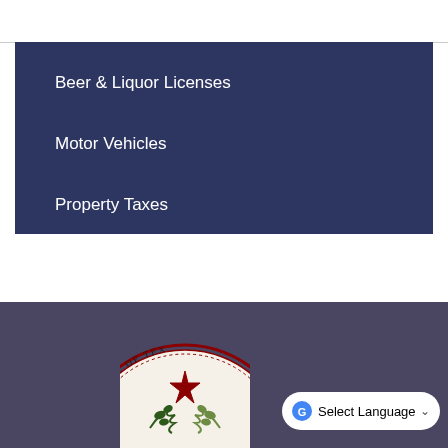Beer & Liquor Licenses
Motor Vehicles
Property Taxes
[Figure (illustration): Partial view of the State of Texas official seal showing text 'THE STATE OF TEXAS' around the border with oak and olive branches and a lone star in the center]
[Figure (screenshot): Google Translate 'Select Language' dropdown widget button in white rounded rectangle]